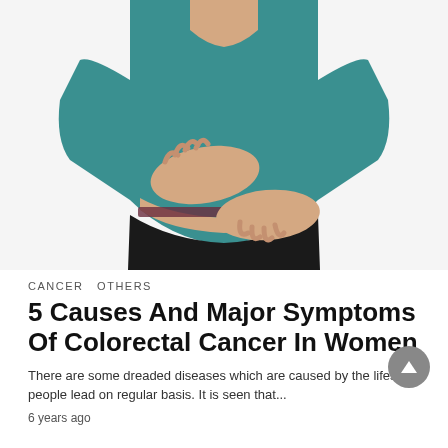[Figure (photo): Woman in teal/turquoise ribbed sweater holding her abdomen with both hands, white background, torso-only shot showing stomach pain or discomfort]
CANCER  OTHERS
5 Causes And Major Symptoms Of Colorectal Cancer In Women
There are some dreaded diseases which are caused by the lifestyle people lead on regular basis. It is seen that...
6 years ago